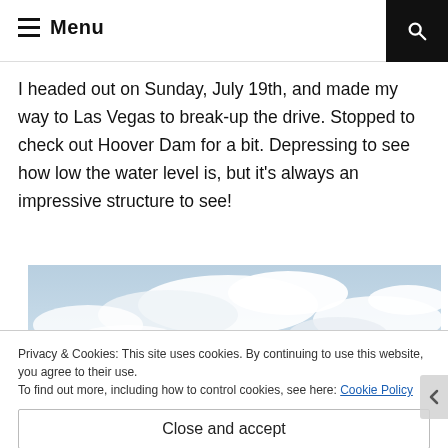☰ Menu
I headed out on Sunday, July 19th, and made my way to Las Vegas to break-up the drive. Stopped to check out Hoover Dam for a bit. Depressing to see how low the water level is, but it's always an impressive structure to see!
[Figure (photo): Wide panoramic photograph of a cloudy sky with some hills or terrain visible along the bottom edge. Light blue sky with white and grey clouds.]
Privacy & Cookies: This site uses cookies. By continuing to use this website, you agree to their use.
To find out more, including how to control cookies, see here: Cookie Policy
Close and accept